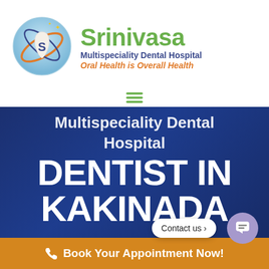[Figure (logo): Srinivasa Multispeciality Dental Hospital logo: circular badge with tooth and letter S, blue and orange orbit rings]
Srinivasa
Multispeciality Dental Hospital
Oral Health is Overall Health
[Figure (other): Green hamburger menu icon (three horizontal lines)]
Multispeciality Dental Hospital
DENTIST IN KAKINADA
Contact us
[Figure (other): Purple chat bubble button icon]
Book Your Appointment Now!